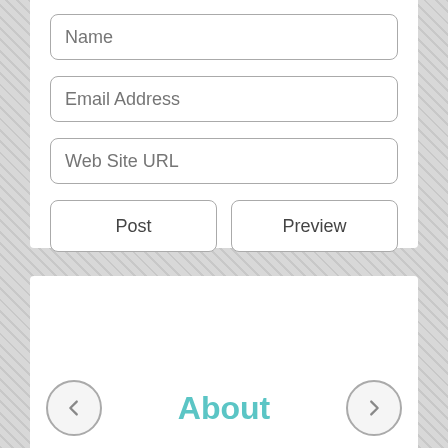[Figure (screenshot): Web form with Name, Email Address, Web Site URL input fields and Post, Preview buttons]
About
[Figure (infographic): Navigation arrows: left arrow circle on left, right arrow circle on right, About label in center]